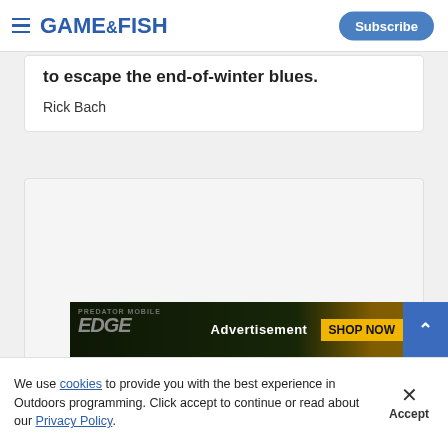GAME & FISH — Subscribe
to escape the end-of-winter blues.
Rick Bach
[Figure (other): Empty content card / image placeholder area]
[Figure (other): Advertisement banner: PREDATOR MOBILE EDGE — Advertisement — SHOP NOW]
We use cookies to provide you with the best experience in Outdoors programming. Click accept to continue or read about our Privacy Policy.